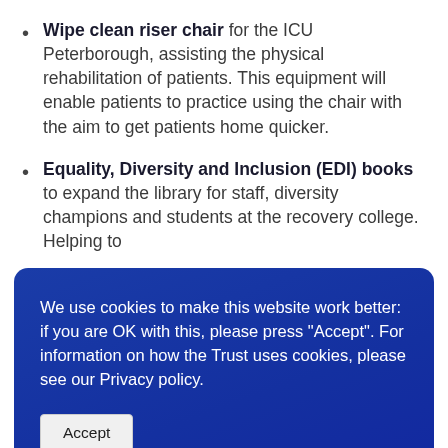Wipe clean riser chair for the ICU Peterborough, assisting the physical rehabilitation of patients. This equipment will enable patients to practice using the chair with the aim to get patients home quicker.
Equality, Diversity and Inclusion (EDI) books to expand the library for staff, diversity champions and students at the recovery college. Helping to
We use cookies to make this website work better: if you are OK with this, please press "Accept". For information on how the Trust uses cookies, please see our Privacy policy.
Bowling event for adults with mental